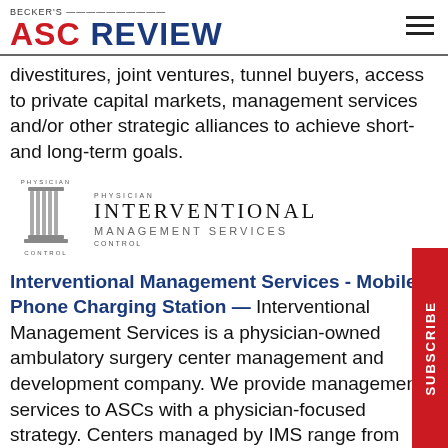BECKER'S ASC REVIEW
divestitures, joint ventures, tunnel buyers, access to private capital markets, management services and/or other strategic alliances to achieve short- and long-term goals.
[Figure (logo): Physician Interventional Management Services logo with column icon]
Interventional Management Services - Mobile Phone Charging Station — Interventional Management Services is a physician-owned ambulatory surgery center management and development company. We provide management services to ASCs with a physician-focused strategy. Centers managed by IMS range from small,